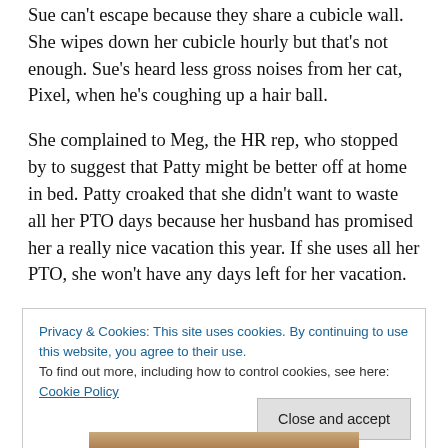Sue can't escape because they share a cubicle wall. She wipes down her cubicle hourly but that's not enough. Sue's heard less gross noises from her cat, Pixel, when he's coughing up a hair ball.
She complained to Meg, the HR rep, who stopped by to suggest that Patty might be better off at home in bed. Patty croaked that she didn't want to waste all her PTO days because her husband has promised her a really nice vacation this year. If she uses all her PTO, she won't have any days left for her vacation.
Privacy & Cookies: This site uses cookies. By continuing to use this website, you agree to their use.
To find out more, including how to control cookies, see here: Cookie Policy
Close and accept
[Figure (photo): Partial view of a photo at the bottom of the page, appears to show a desk or table with objects.]